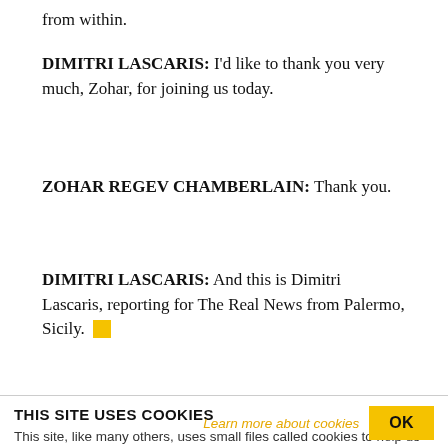from within.
DIMITRI LASCARIS: I'd like to thank you very much, Zohar, for joining us today.
ZOHAR REGEV CHAMBERLAIN: Thank you.
DIMITRI LASCARIS: And this is Dimitri Lascaris, reporting for The Real News from Palermo, Sicily.
THIS SITE USES COOKIES
This site, like many others, uses small files called cookies to help us improve and customize your experience. Learn more about how we use cookies in our cookie policy.
Learn more about cookies   OK